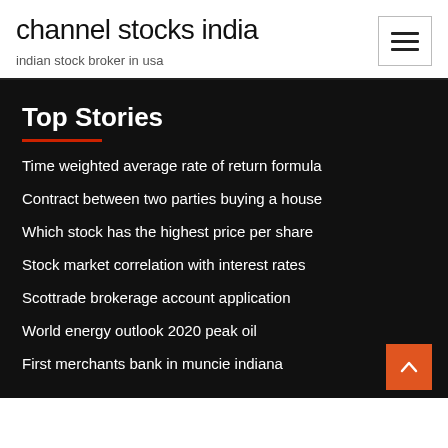channel stocks india
indian stock broker in usa
Top Stories
Time weighted average rate of return formula
Contract between two parties buying a house
Which stock has the highest price per share
Stock market correlation with interest rates
Scottrade brokerage account application
World energy outlook 2020 peak oil
First merchants bank in muncie indiana